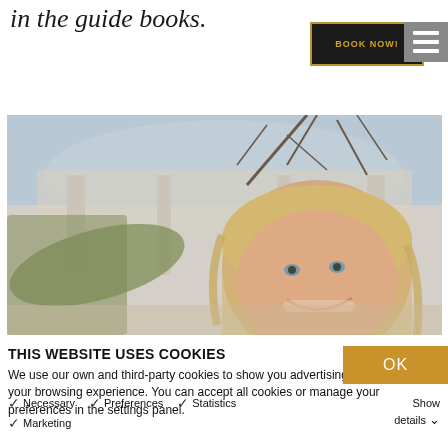in the guide books.
[Figure (other): Black button with gold border reading BOOK NOW!]
[Figure (other): Grey hamburger menu icon with three horizontal white bars]
[Figure (photo): Photo of a smiling blonde woman outdoors near an ornate building with bare tree branches visible]
THIS WEBSITE USES COOKIES
We use our own and third-party cookies to show you advertising according to your browsing experience. You can accept all cookies or manage your preferences in the settings panel.
[Figure (other): Gold/amber OK button]
✓ Necessary
✓ Preferences
✓ Statistics
✓ Marketing
Show details ▾